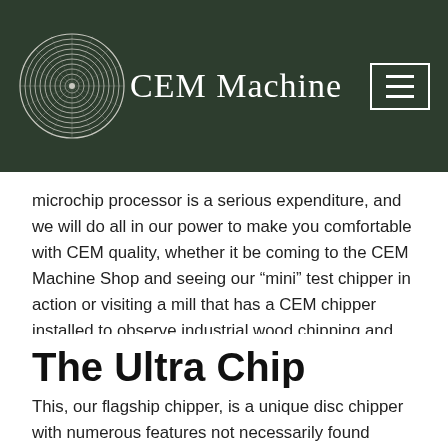CEM Machine
microchip processor is a serious expenditure, and we will do all in our power to make you comfortable with CEM quality, whether it be coming to the CEM Machine Shop and seeing our “mini” test chipper in action or visiting a mill that has a CEM chipper installed to observe industrial wood chipping and ask the operators how they feel about their CEM machine.
The Ultra Chip
This, our flagship chipper, is a unique disc chipper with numerous features not necessarily found anywhere else. CEM will design and manufacture an UltraChip™ Chipper to suit your exact requirements. The model 112-15 Ultra Chip™ is capable of chipping over 300 tons/hour (270